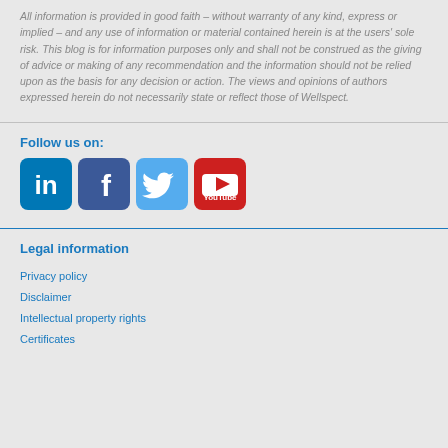All information is provided in good faith – without warranty of any kind, express or implied – and any use of information or material contained herein is at the users' sole risk. This blog is for information purposes only and shall not be construed as the giving of advice or making of any recommendation and the information should not be relied upon as the basis for any decision or action. The views and opinions of authors expressed herein do not necessarily state or reflect those of Wellspect.
Follow us on:
[Figure (illustration): Social media icons: LinkedIn (blue rounded square), Facebook (dark blue rounded square), Twitter (light blue rounded square), YouTube (red rounded square)]
Legal information
Privacy policy
Disclaimer
Intellectual property rights
Certificates